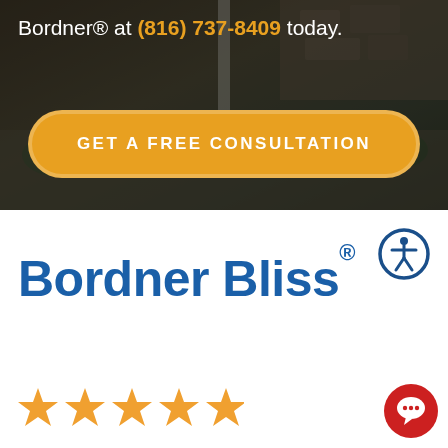Bordner® at (816) 737-8409 today.
GET A FREE CONSULTATION
[Figure (screenshot): Background photo of a residential driveway/patio area with stone wall and landscaping, overlaid with dark translucent layer]
Bordner Bliss®
[Figure (illustration): Accessibility icon — circular badge with dark blue border, white background, stylized person figure in dark blue]
[Figure (illustration): Five orange star rating icons in a row]
[Figure (illustration): Red circular chat button with speech bubble icon, bottom right corner]